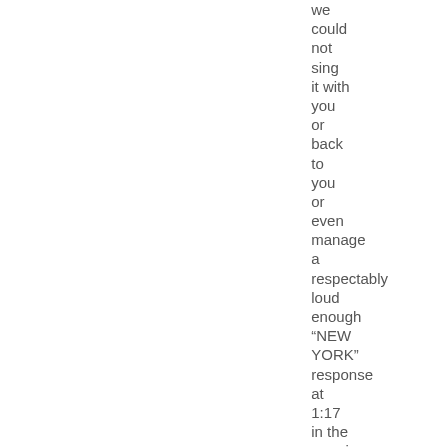we could not sing it with you or back to you or even manage a respectably loud enough “NEW YORK” response at 1:17 in the morning, because